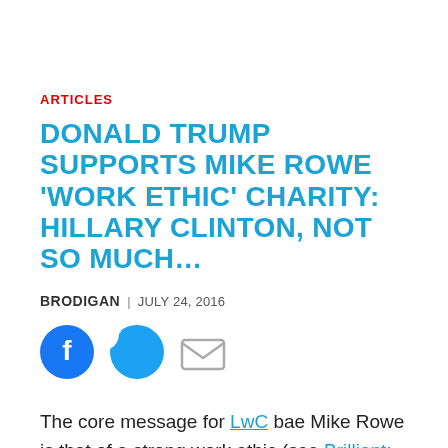ARTICLES
DONALD TRUMP SUPPORTS MIKE ROWE 'WORK ETHIC' CHARITY: HILLARY CLINTON, NOT SO MUCH...
BRODIGAN | JULY 24, 2016
[Figure (illustration): Social sharing icons: Facebook (blue circle), Twitter (blue circle), email (grey envelope)]
The core message for LwC bae Mike Rowe is that of a strong work ethic (see Brilliant: Mike Rowe Tells You How To Make A Six-Figure Salary and Mike Rowe Schools Media on 'Undesirable Jobs' Again. And It's Perfect.) He even has